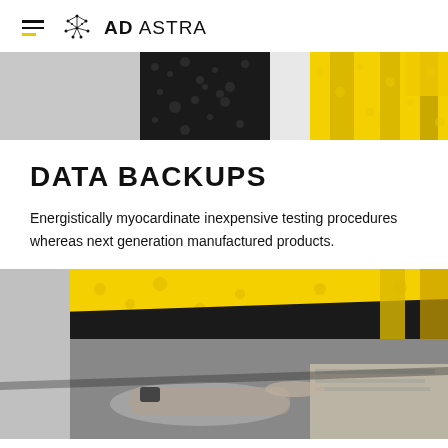AD ASTRA
[Figure (photo): Halftone banner image with black and yellow sections, stylized abstract photo treatment]
DATA BACKUPS
Energistically myocardinate inexpensive testing procedures whereas next generation manufactured products.
[Figure (photo): Black and white photo of a person's hand pointing at documents on a desk, overlaid with yellow halftone pattern in upper portion]